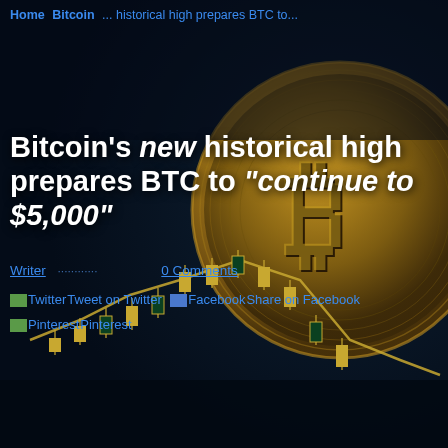Home Bitcoin ... historical high prepares BTC to...
Bitcoin's new historical high prepares BTC to "continue to $5,000"
Writer   0 Comments
Tweet on Twitter  Share on Facebook  Pinterest
[Figure (illustration): Dark blue background with a large gold Bitcoin coin on the right side and a gold candlestick chart with a line graph overlay on the lower portion of the image.]